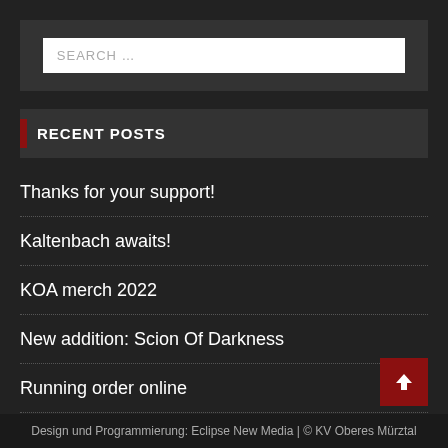SEARCH …
RECENT POSTS
Thanks for your support!
Kaltenbach awaits!
KOA merch 2022
New addition: Scion Of Darkness
Running order online
Design und Programmierung: Eclipse New Media | © KV Oberes Mürztal